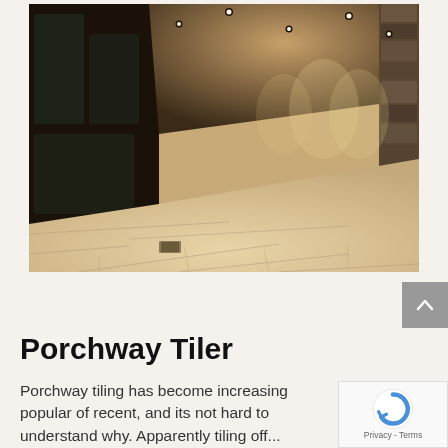[Figure (photo): Interior room photo showing large tiled floor with irregular stone-like tiles in warm beige/cream tones, dark ceiling with recessed downlights, glass wall panels on the left, a curved low cabinet/bench on the right, and a stacked stone feature wall on the far right. The room is lit with warm ambient lighting and recessed spotlights.]
Porchway Tiler
Porchway tiling has become increasing popular of recent, and its not hard to understand why. Apparently tiling off...